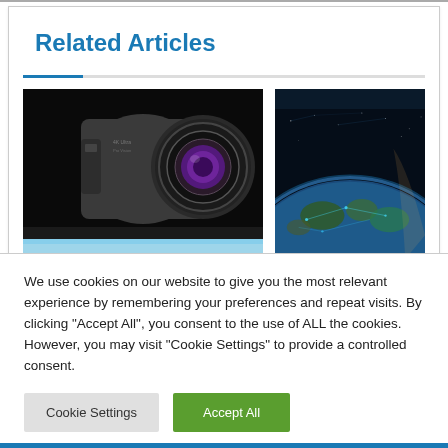Related Articles
[Figure (photo): Close-up of a cylindrical security/surveillance camera with a large purple-tinted lens, mounted on a surface with sky visible below, black background above.]
[Figure (photo): Digital artwork of Earth from space showing the globe with glowing blue network connections or satellite coverage, dark space background.]
A further thriving SpaceX
We use cookies on our website to give you the most relevant experience by remembering your preferences and repeat visits. By clicking "Accept All", you consent to the use of ALL the cookies. However, you may visit "Cookie Settings" to provide a controlled consent.
Cookie Settings | Accept All